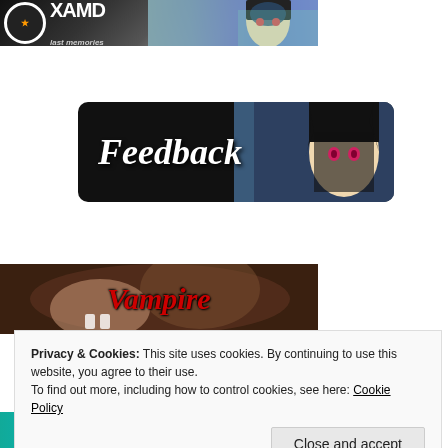[Figure (illustration): Top banner with XAMD logo (circle emblem, text 'XAMD last memories') on dark background, with anime character illustration on the right side]
[Figure (illustration): Feedback banner with dark/black background, bold italic white text 'Feedback', and anime character (dark-haired figure with pink/red eyes) on the right]
[Figure (illustration): Vampire text banner with dark brown/orange anime background, red italic bold text reading 'Vampire']
[Figure (illustration): Bottom banner with teal/blue gradient background and stylized white text 'Furi & Shoujo Art']
Privacy & Cookies: This site uses cookies. By continuing to use this website, you agree to their use.
To find out more, including how to control cookies, see here: Cookie Policy
Close and accept